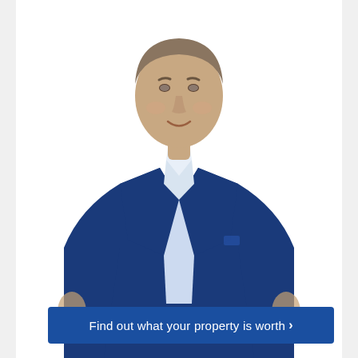[Figure (photo): Professional headshot of a middle-aged man wearing a navy blue suit jacket over a light blue/white open-collar shirt, smiling, photographed against a white background.]
Find out what your property is worth ›